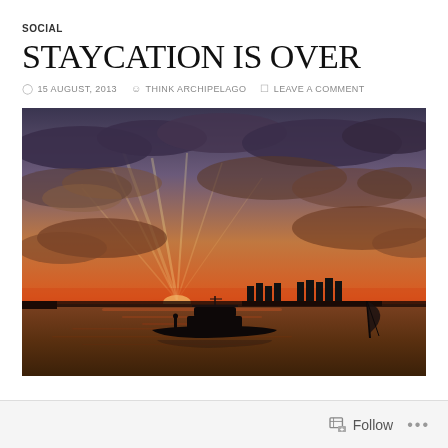SOCIAL
STAYCATION IS OVER
15 AUGUST, 2013   THINK ARCHIPELAGO   LEAVE A COMMENT
[Figure (photo): Sunset over the sea with a motorboat silhouetted in the foreground, city skyline in the background, dramatic orange and purple cloudy sky with light rays]
Follow